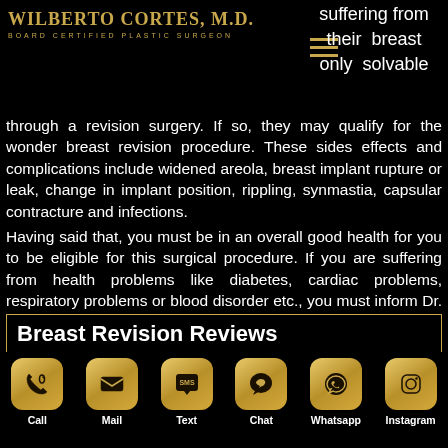[Figure (logo): Wilberto Cortes M.D. Board Certified Plastic Surgeon logo in gold]
suffering from their breast only solvable
through a revision surgery. If so, they may qualify for the wonder breast revision procedure. These sides effects and complications include widened areola, breast implant rupture or leak, change in implant position, rippling, synmastia, capsular contracture and infections.
Having said that, you must be in an overall good health for you to be eligible for this surgical procedure. If you are suffering from health problems like diabetes, cardiac problems, respiratory problems or blood disorder etc., you must inform Dr. Cortes. These are health issues that affect the results. In addition, it is important to have realistic expectations and goals in order to be a good candidate for the wonder breast revision surgery.
Breast Revision Reviews
[Figure (infographic): Six social contact icons in gold rounded squares: Call (phone), Mail (email), Text (SMS), Chat (messenger), Whatsapp, Instagram with white labels below]